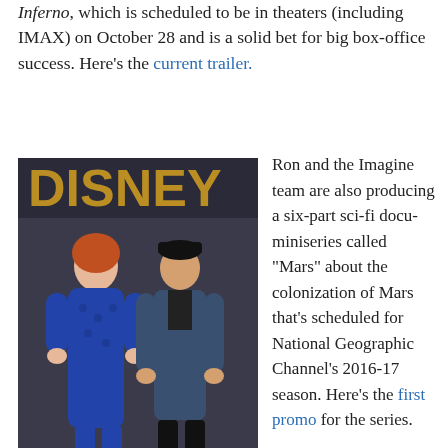Inferno, which is scheduled to be in theaters (including IMAX) on October 28 and is a solid bet for big box-office success. Here's the current trailer.
[Figure (photo): Ron Howard with daughter Bryce at a gala event in front of a Disney backdrop]
HAPPY DAY–Ron Howard with daughter Bryce at a gala event in
Ron and the Imagine team are also producing a six-part sci-fi docu-miniseries called "Mars" about the colonization of Mars that's scheduled for National Geographic Channel's 2016-17 season. Here's the first promo for the series.
The Imagine team is also producing a re-imagined remake for Disney of their 1984 hit, Splash! This time Channing Tatum has been hooked to play a merman. They're also